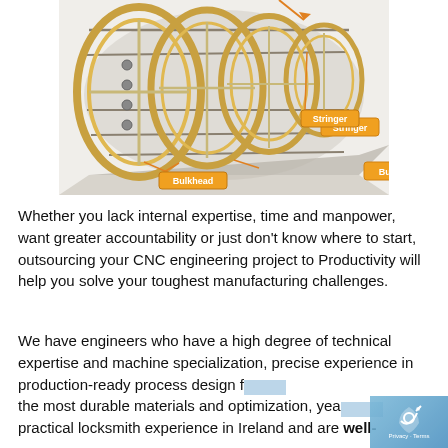[Figure (engineering-diagram): Technical illustration of cylindrical aircraft fuselage structure showing internal frame components (bulkheads and stringers). Labeled callouts point to 'Bulkhead' (circular frame rings) and 'Stringer' (longitudinal structural members running along the length of the cylinder). The structure is rendered in a 3D cutaway style with metallic gold/tan coloring on the frames.]
Whether you lack internal expertise, time and manpower, want greater accountability or just don't know where to start, outsourcing your CNC engineering project to Productivity will help you solve your toughest manufacturing challenges.
We have engineers who have a high degree of technical expertise and machine specialization, precise experience in production-ready process design for the most durable materials and optimization, years of practical locksmith experience in Ireland and are well-